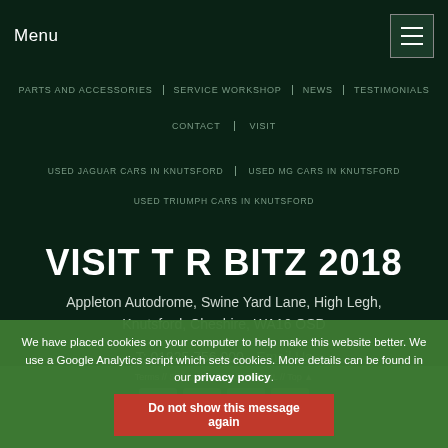Menu
PARTS AND ACCESSORIES | SERVICE WORKSHOP | NEWS | TESTIMONIALS
CONTACT | VISIT
USED JAGUAR CARS IN KNUTSFORD | USED MG CARS IN KNUTSFORD
USED TRIUMPH CARS IN KNUTSFORD
VISIT T R BITZ 2018
Appleton Autodrome, Swine Yard Lane, High Legh, Knutsford, Cheshire, WA16 OSD
T: 01925 756 000 - Email Us
Terms // Site Design // Valid XHTML // Top
We have placed cookies on your computer to help make this website better. We use a Google Analytics script which sets cookies. More details can be found in our privacy policy.
Do not show this message again